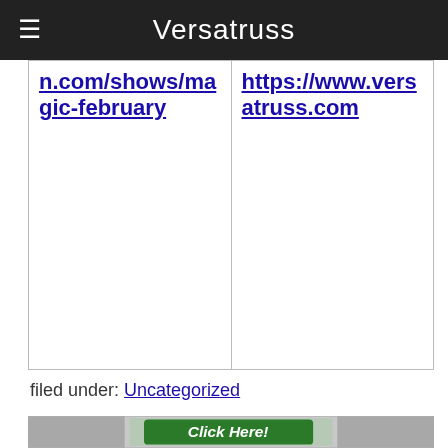Versatruss
| n.com/shows/magic-february | https://www.versatruss.com |
filed under: Uncategorized
[Figure (photo): Click Here button image with building/trees in background]